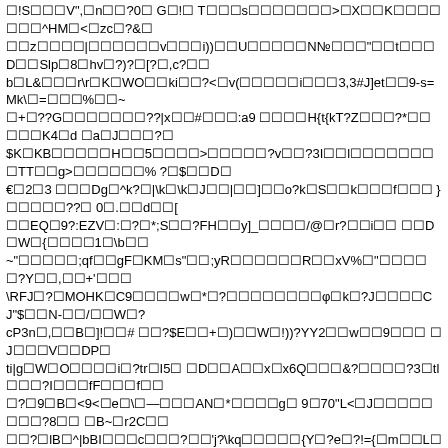&#9744;!S&#9744;&#9744;&#9744;V",&#9744;n&#9744;&#9744;?0&#9744; G&#9744;!&#9744; T&#9744;&#9744;&#9744;s&#9744;&#9744;&#9744;&#9744;&#9744;&#9744;&#9744;>&#9744;X&#9744;&#9744;K&#9744;&#9744;&#9744;&#9744;&#9744;&#9744;&#9744;^HM&#9744;<&#9744;zc&#9744;?&&#9744;
&#9744;&#9744;z&#9744;&#9744;&#9744;&#9744;|&#9744;&#9744;&#9744;&#9744;&#9744;&#9744;v&#9744;&#9744;&#9744;i))&#9744;&#9744;U&#9744;&#9744;&#9744;&#9744;&#9744;N№&#9744;&#9744;&#9744;"&#9744;&#9744;t&#9744;&#9744;&#9744;D&#9744;&#9744;Slp&#9744;8&#9744;hv&#9744;?)?&#9744;[?&#9744;,c?&#9744;&#9744;
b&#9744;L&&#9744;&#9744;&#9744;r\r&#9744;K&#9744;WO&#9744;&#9744;ki&#9744;&#9744;?<&#9744;v(&#9744;&#9744;&#9744;&#9744;&#9744;i&#9744;&#9744;&#9744;3,3#J]et&#9744;&#9744;9-s=Mk\&#9744;=&#9744;&#9744;&#9744;%&#9744;&#9744;~
&#9744;+&#9744;??G&#9744;&#9744;&#9744;&#9744;&#9744;&#9744;&#9744;??|x&#9744;&#9744;#&#9744;&#9744;&#9744;:a9 &#9744;&#9744;&#9744;&#9744;H{t{kT?Z&#9744;&#9744;&#9744;?*&#9744;&#9744;&#9744;&#9744;&#9744;K4&#9744;d &#9744;a&#9744;J&#9744;&#9744;&#9744;?&#9744;
$K&#9744;KB&#9744;&#9744;&#9744;&#9744;&#9744;H&#9744;&#9744;5&#9744;&#9744;&#9744;&#9744;>&#9744;&#9744;&#9744;&#9744;&#9744;?v&#9744;&#9744;?3I&#9744;&#9744;l&#9744;&#9744;&#9744;&#9744;&#9744;&#9744;&#9744;&#9744;TT&#9744;&#9744;g>&#9744;&#9744;&#9744;&#9744;&#9744;&#9744;% ?&#9744;$&#9744;&#9744;D&#9744;
€&#9744;2&#9744;3 &#9744;&#9744;&#9744;Dg&#9744;^k?&#9744;|\k&#9744;\k&#9744;J&#9744;&#9744;|&#9744;&#9744;]&#9744;&#9744;o?k&#9744;S&#9744;&#9744;k&#9744;&#9744;&#9744;f&#9744;&#9744;&#9744; }&#9744;&#9744;&#9744;&#9744;&#9744;??&#9744; 0&#9744;.&#9744;&#9744;d&#9744;&#9744;[
&#9744;&#9744;EQ&#9744;9?:EZV&#9744;:&#9744;?&#9744;*;S&#9744;&#9744;?FH&#9744;&#9744;y]_&#9744;&#9744;&#9744;&#9744;/@&#9744;r?&#9744;&#9744;i&#9744;&#9744; &#9744;&#9744;D&#9744;W&#9744;{&#9744;&#9744;&#9744;&#9744;1&#9744;\b&#9744;&#9744;
~"&#9744;&#9744;&#9744;&#9744;&#9744;;qf&#9744;&#9744;gF&#9744;KM&#9744;s"&#9744;&#9744;;yR&#9744;&#9744;&#9744;&#9744;&#9744;&#9744;R&#9744;&#9744;xV%&#9744;"&#9744;&#9744;&#9744;&#9744;&#9744;?Y&#9744;&#9744;,&#9744;&#9744;+'&#9744;&#9744;&#9744;
\RFJ&#9744;?&#9744;MOHK&#9744;C9&#9744;&#9744;&#9744;&#9744;w&#9744;*&#9744;?&#9744;&#9744;&#9744;&#9744;&#9744;&#9744;&#9744;&#9744;φ&#9744;k&#9744;?J&#9744;&#9744;&#9744;&#9744;CJ"$&#9744;&#9744;N-&#9744;&#9744;/&#9744;&#9744;W&#9744;?
cP3n&#9744;,&#9744;&#9744;B&#9744;]!&#9744;&#9744;# &#9744;&#9744;?$E&#9744;&#9744;+&#9744;)&#9744;&#9744;W&#9744;!))?YY2&#9744;&#9744;w&#9744;&#9744;9&#9744;&#9744;&#9744; &#9744;J&#9744;&#9744;&#9744;V&#9744;&#9744;DP&#9744;
ti|g&#9744;W&#9744;O&#9744;&#9744;&#9744;&#9744;i&#9744;?tr&#9744;I5&#9744; &#9744;D&#9744;&#9744;A&#9744;&#9744;x&#9744;x6Q&#9744;&#9744;&#9744;&?&#9744;&#9744;&#9744;&#9744;?3&#9744;tl&#9744;&#9744;&#9744;?I&#9744;&#9744;&#9744;fF&#9744;&#9744;&#9744;f&#9744;&#9744;
&#9744;?&#9744;9&#9744;B&#9744;<9<&#9744;e&#9744;\&#9744;—&#9744;&#9744;&#9744;AN&#9744;*&#9744;&#9744;&#9744;&#9744;g&#9744; 9&#9744;7&#9744;0"L<&#9744;J&#9744;&#9744;&#9744;&#9744;&#9744;&#9744;&#9744;&#9744;?8&#9744;&#9744; &#9744;B~&#9744;r2C&#9744;&#9744;
&#9744;&#9744;?&#9744;lB&#9744;^|bBI&#9744;&#9744;&#9744;c&#9744;&#9744;&#9744;?&#9744;&#9744;'j?\kq&#9744;&#9744;&#9744;&#9744;&#9744;{Y&#9744;?e&#9744;?!={&#9744;m&#9744;&#9744;L&#9744;&#9744;&#9744;?&#9744;&#9744;g
&#9744;|V&#9744;H&#9744;;V&#9744;&#9744;[&#9744;&#9744;c&#9744;"6&#9744;&#9744;&#9744;&#9744;&#9744;&#9744;RRUS&#9744;?G&#9744;?p&#9744;?&#9744;&#9744;&#9744;%&#9744;&#9744;&#9744; &#9744;&#9744;&#9744;&#9744;IQ&#9744;|t&#9744;&#9744;3&#9744;&#9744;&#9744;&#9744;bt:&#9744;&#9744;
&#9744;⊥y&#9744;&#9744;&#9744;_&#9744;&#9744;&#9744;&#9744;&#9744; q?&#9744;&#9744;u&#9744;K&#9744;f+&#9744;s&#9744;?&#9744;&#9744;&#9744;O&#9744;&#9744;f&#9744;?\4^;&#9744;&#9744;&#9744;&#9744;|&#9744;&#9744;q&#9744;K:&#9744;&#9744;?nK|*&#9744;&#9744;&#9744;s?
&#9744;9=&#9744;&?)6*MNS3-.&#9744;R&#9744;&#9744;?&#9744;&#9744; &#9744;=@ &#9744;&#9744;&#9744;&#9744;C&#9744;4&#9744;bh?EPA&#9744;}\&#9744;&#9744;V&#9744;?q$&#9744;&#9744;??
mc?-=$N&#9744;&#9744;gr&#9744;w&#9744;&#9744;Gz&#9744;H&#9744;y&#9744;&#9744;&#9744;L &#9744;&#9744;&#9744;&#9744;bmG&#9744;P>&#9744;&#9744;&#9744;&#9744;%l&#9744;Kj&#9744;&#9744;&#9744;&#9744;J&#9744;?%eL&#9744;?
&#9744;r&#9744;9S&#9744;#&#9744;;&#9744;^&#9744;&#9744;?&#9744;#{?&#9744;\c&#9744;?%1.mR&#9744;&#9744;&#9744;&#9744;&#9744;&#9744;i%$L&#9744;#h9y?-&#9744;8M&#9744;&#9744;*q&#9744;&#9744;&#9744;?&#9744;&#9744;
J&#9744;&#9744;&#9744;??&#9744; &#9744;&#9744;9A!&#9744;&#9744;&#9744;&#9744;&#9744;&#9744;&#9744;&#9744;&#9744;&#9744;&#9744;&#9744;}&#9744;&#9744;&#9744;&#9744;&#9744;&#9744;&#9744;&#9744;n&#9744;Y1&#9744;fH&#9744; u?&#9744;&#9744;J)&#9744;2[&#9744;&#9744;$O^96z&#9744;?&#9744;&#9744;g
&#9744;&#9744;&#9744;&#9744;&#9744;&#9744;>)-&#9744;+&#9744;&#9744;&#9744;&#9744;&#9744;&#9744;&#9744;i&#9744;&#9744;Y&#9744;&#9744;d&#9744;r?&#9744;&#9744;&#9744;&#9744;&#9744;\ k?&#9744;&#9744;oe&#9744;&#9744;&#9744;&#9744;&#9744;HJ&#9744;&#9744;&#9744;O&#9744;&#9744;*V&#9744;&#9744;&#9744;&#9744;&#9744;&#9744;LIJ&#9744;&#9744;&#9744;
&#9744;&#9744; &#9744;&#9744;&#9744;&#9744;&#9744;&#9744;&#9744;&#9744;Py&#9744;c&#9744;q?G8&#9744;&V&#9744;c&#9744;~=&#9744;>qP?4&#9744;$s?&#9744;&#9744;e&#9744;L&#9744;&#9744;&#9744;7V&#9744;&#9744;&#9744;&#9744;&#9744;&#9744;&#9744;&#9744;
\iuYXhxxV&#9744;&#9744;?&#9744;&#9744;~&#9744;X&#9744;ǍtS&#9744;2k&#9744;&#9744;&#9744;?&#9744;D>&#9744;&#9744;&#9744;&#9744;&#9744;&#9744;9&#9744;&#9744;&#9744;&#9744;&#9744;YW&#9744;B|>&#9744;8&#9744;&#9744;?&#9744;&#9744;&#9744;
9??&#9744;?&#9744;g&#9744;&#9744;&#9744;&#9744;&#9744;&#9744;Kr&#9744;&#9744;?aW&#9744;9Gr&#9744;&#9744;&#9744;&#9744;&#9744;&#9744;&#9744;?n\|&#9744;&#9744;&#9744;U&#9744;&#9744;&#9744;&#9744;5?&#9744;&#9744;?\6&#9744;&#9744;4?U6?pO&#9744;&#9744;
0rl&#9744;&#9744;&#9744;&#9744;,r\`?&#9744;&#9744;&#9744;&#9744;&#9744;&#9744;&#9744;^&#9744;&#9744;&#9744; &#9744;W&#9744;&#9744;? J&#9744;t&#9744;$&#9744;&#9744;&#9744;&#9744;&#9744;:?&#9744;&#9744;&#9744;~&#9744;^?,L&#9744;&#9744;&#9744;#&#9744;&#9744;&#9744;>&#9744;P&#9744;4&#9744;R&#9744;e?
&#9744;4&#9744;J&#9744;i9"\&#9744;&#9744;[&#9744;+&#9744;&#9744;&#9744;&#9744;&#9744;<&#9744;&#9744;&#9744;&#9744;A8&#9744;&#9744;&#9744;&#9744;&#9744;&#9744;?C&#9744;&#9744;?q)&#9744;5 &#9744;1&#9744;&#9744;M#k8&#9744;kn&#9744;C&#9744;r?kT